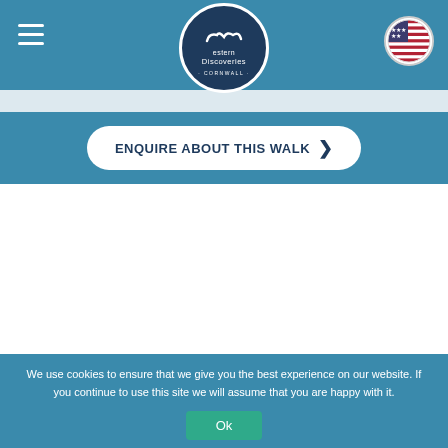Western Discoveries Cornwall - navigation header with logo and hamburger menu
ENQUIRE ABOUT THIS WALK
We use cookies to ensure that we give you the best experience on our website. If you continue to use this site we will assume that you are happy with it.
Ok